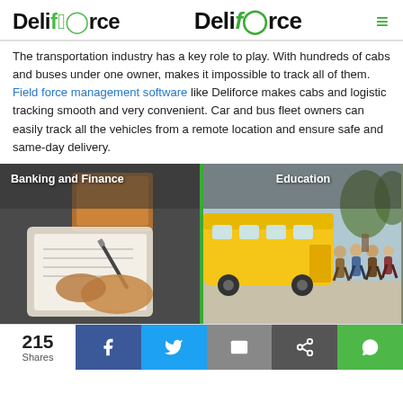Deliforce
The transportation industry has a key role to play. With hundreds of cabs and buses under one owner, makes it impossible to track all of them. Field force management software like Deliforce makes cabs and logistic tracking smooth and very convenient. Car and bus fleet owners can easily track all the vehicles from a remote location and ensure safe and same-day delivery.
[Figure (photo): Two side-by-side panels: left panel shows a person writing on a clipboard with packages in background, labeled 'Banking and Finance'; right panel shows children boarding a yellow school bus, labeled 'Education'. Panels separated by a green vertical divider.]
215 Shares | Facebook | Twitter | Email | Share | WhatsApp